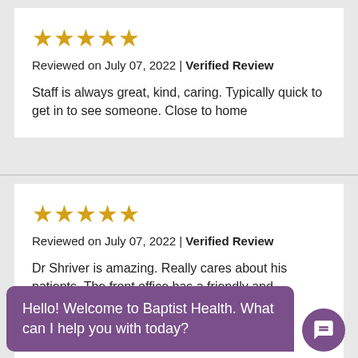[Figure (other): 5 gold stars rating]
Reviewed on July 07, 2022 | Verified Review
Staff is always great, kind, caring. Typically quick to get in to see someone. Close to home
[Figure (other): 5 gold stars rating]
Reviewed on July 07, 2022 | Verified Review
Dr Shriver is amazing. Really cares about his patients. The front office has a friendly and [continues below]
Hello! Welcome to Baptist Health. What can I help you with today?